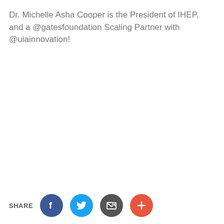Dr. Michelle Asha Cooper is the President of IHEP, and a @gatesfoundation Scaling Partner with @uiainnovation!
SHARE [Facebook] [Twitter] [Email] [Plus]